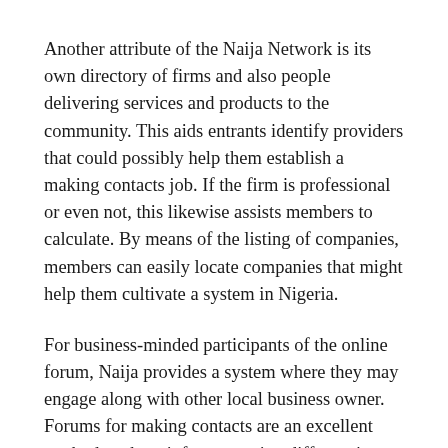Another attribute of the Naija Network is its own directory of firms and also people delivering services and products to the community. This aids entrants identify providers that could possibly help them establish a making contacts job. If the firm is professional or even not, this likewise assists members to calculate. By means of the listing of companies, members can easily locate companies that might help them cultivate a system in Nigeria.
For business-minded participants of the online forum, Naija provides a system where they may engage along with other local business owner. Forums for making contacts are an excellent method to share info concerning different items. This info might be made use of as a basis to choose which services or product to go after. It is actually also a nice way to make good friends and also cultivate